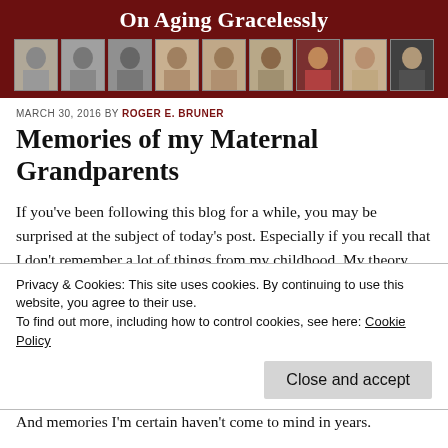On Aging Gracelessly
[Figure (photo): Row of nine portrait photos of the same man at different ages, displayed in a dark red banner]
MARCH 30, 2016 BY ROGER E. BRUNER
Memories of my Maternal Grandparents
If you've been following this blog for a while, you may be surprised at the subject of today's post. Especially if you recall that I don't remember a lot of things from my childhood. My theory about forgotten memories is that the encephalitis that
Privacy & Cookies: This site uses cookies. By continuing to use this website, you agree to their use.
To find out more, including how to control cookies, see here: Cookie Policy
And memories I'm certain haven't come to mind in years.